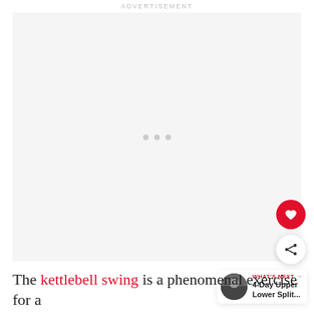ADVERTISEMENT
[Figure (other): Advertisement placeholder area with three grey dots centered, white/light grey background]
[Figure (other): Red circular favourite/heart button and white circular share button floating on right side]
[Figure (other): What's Next card showing a thumbnail image and text '4-Day Upper Lower Split...']
The kettlebell swing is a phenomenal exercise for a